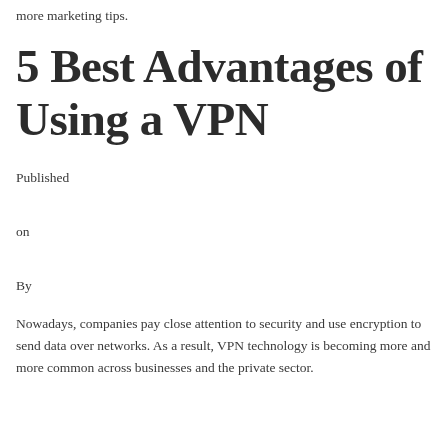more marketing tips.
5 Best Advantages of Using a VPN
Published

on

By
Nowadays, companies pay close attention to security and use encryption to send data over networks. As a result, VPN technology is becoming more and more common across businesses and the private sector.